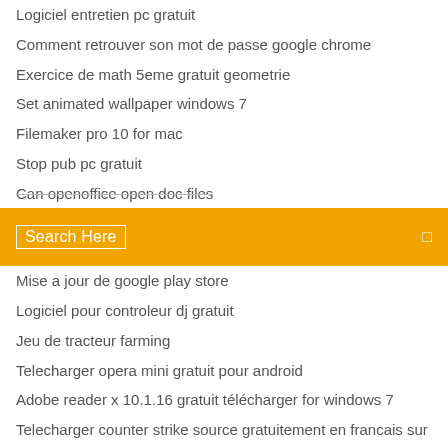Logiciel entretien pc gratuit
Comment retrouver son mot de passe google chrome
Exercice de math 5eme gratuit geometrie
Set animated wallpaper windows 7
Filemaker pro 10 for mac
Stop pub pc gratuit
Can openoffice open doc files
[Figure (screenshot): Orange search bar with white 'Search Here' text and a small icon on the right]
Mise a jour de google play store
Logiciel pour controleur dj gratuit
Jeu de tracteur farming
Telecharger opera mini gratuit pour android
Adobe reader x 10.1.16 gratuit télécharger for windows 7
Telecharger counter strike source gratuitement en francais sur pc
LTF Abandonware France - The Settlers II : Veni, Vidi, Vici